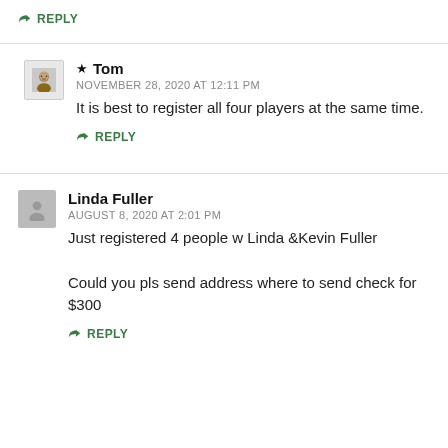↳ REPLY
★ Tom
NOVEMBER 28, 2020 AT 12:11 PM
It is best to register all four players at the same time.
↳ REPLY
Linda Fuller
AUGUST 8, 2020 AT 2:01 PM
Just registered 4 people w Linda &Kevin Fuller

Could you pls send address where to send check for $300
↳ REPLY